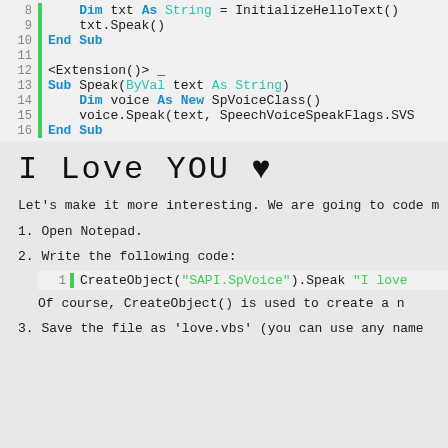[Figure (screenshot): Code block showing VB.NET lines 8-16 with syntax highlighting: line 8 Dim txt As String = InitializeHelloText(), line 9 txt.Speak(), line 10 End Sub, line 11 blank, line 12 <Extension()> _, line 13 Sub Speak(ByVal text As String), line 14 Dim voice As New SpVoiceClass(), line 15 voice.Speak(text, SpeechVoiceSpeakFlags.SVS..., line 16 End Sub]
I Love YOU ♥
Let's make it more interesting. We are going to code m
1. Open Notepad.
2. Write the following code:
[Figure (screenshot): Inline code block line 1: CreateObject("SAPI.SpVoice").Speak "I love]
Of course, CreateObject() is used to create a n
3. Save the file as 'love.vbs' (you can use any name